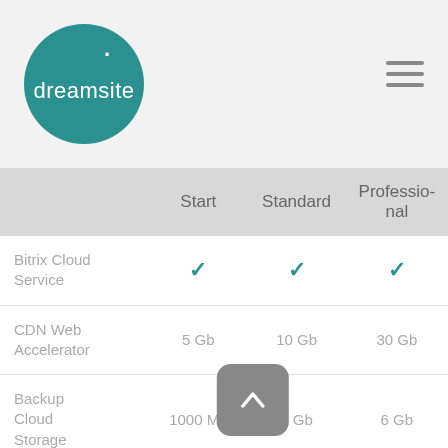[Figure (logo): Dreamsite logo — teal circle with white dot and 'dreamsite' text]
|  | Start | Standard | Professio… |
| --- | --- | --- | --- |
| Bitrix Cloud Service | ✓ | ✓ | ✓ |
| CDN Web Accelerator | 5 Gb | 10 Gb | 30 Gb |
| Backup Cloud Storage | 1000 Mb | 2 Gb | 6 Gb |
| Proactive Protection |  | ✓ | ✓ |
| Visual Scalability |  | ✓ | ✓ |
| Web Cluster |  |  |  |